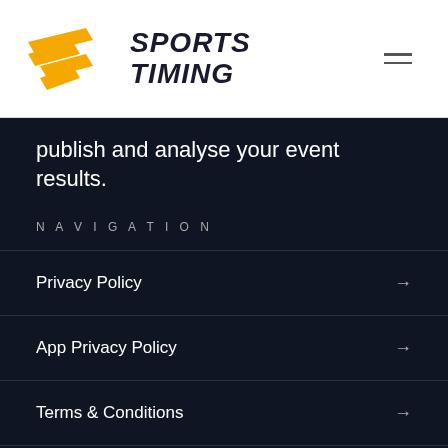[Figure (logo): Sports Timing logo with yellow parallel lines icon and bold italic text reading SPORTS TIMING]
publish and analyse your event results.
NAVIGATION
Privacy Policy
App Privacy Policy
Terms & Conditions
News
Contact